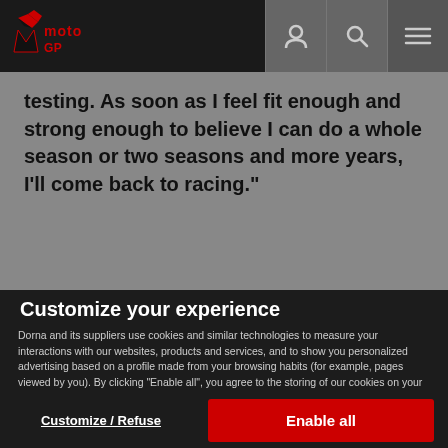MotoGP logo navigation bar
testing. As soon as I feel fit enough and strong enough to believe I can do a whole season or two seasons and more years, I'll come back to racing."
Customize your experience
Dorna and its suppliers use cookies and similar technologies to measure your interactions with our websites, products and services, and to show you personalized advertising based on a profile made from your browsing habits (for example, pages viewed by you). By clicking “Enable all”, you agree to the storing of our cookies on your device for those purposes. By clicking “Customize” you can choose which categories of cookies you prefer to enable or refuse, and you can also choose to refuse them all. You can always check our Cookies Policy for further information. Cookie Policy
Customize / Refuse
Enable all